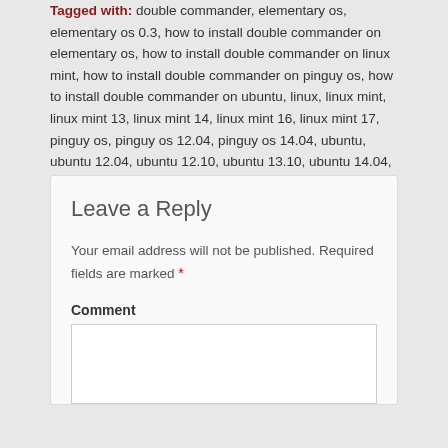Tagged with: double commander, elementary os, elementary os 0.3, how to install double commander on elementary os, how to install double commander on linux mint, how to install double commander on pinguy os, how to install double commander on ubuntu, linux, linux mint, linux mint 13, linux mint 14, linux mint 16, linux mint 17, pinguy os, pinguy os 12.04, pinguy os 14.04, ubuntu, ubuntu 12.04, ubuntu 12.10, ubuntu 13.10, ubuntu 14.04, unix
Posted in The Linux and Unix Articles!
Leave a Reply
Your email address will not be published. Required fields are marked *
Comment